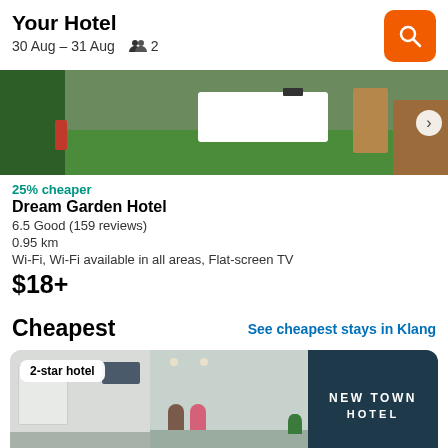Your Hotel
30 Aug – 31 Aug   2
[Figure (photo): Hotel lobby with green carpet/grass flooring, white reception desk, wood accents]
25% cheaper
Dream Garden Hotel
6.5 Good (159 reviews)
0.95 km
Wi-Fi, Wi-Fi available in all areas, Flat-screen TV
$18+
Cheapest
See cheapest stays in Klang
[Figure (photo): New Town Hotel reception area with dark blue branded wall and front desk staff]